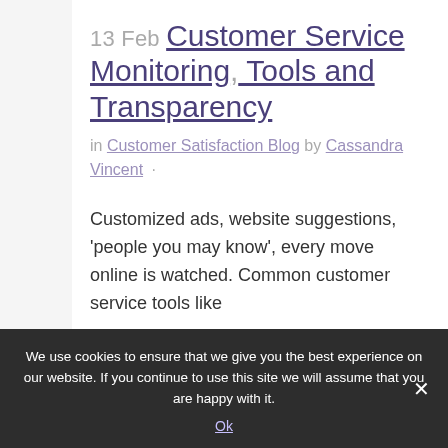13 Feb Customer Service Monitoring, Tools and Transparency
in Customer Satisfaction Blog by Cassandra Vincent ·
Customized ads, website suggestions, 'people you may know', every move online is watched. Common customer service tools like
We use cookies to ensure that we give you the best experience on our website. If you continue to use this site we will assume that you are happy with it. Ok ×